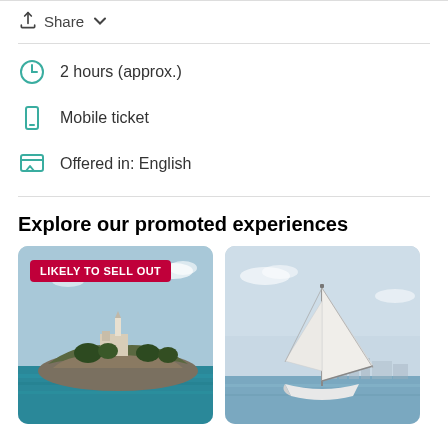Share
2 hours (approx.)
Mobile ticket
Offered in: English
Explore our promoted experiences
[Figure (photo): Alcatraz Island aerial photo with 'LIKELY TO SELL OUT' badge]
[Figure (photo): Sailboat on San Francisco Bay with city skyline in background]